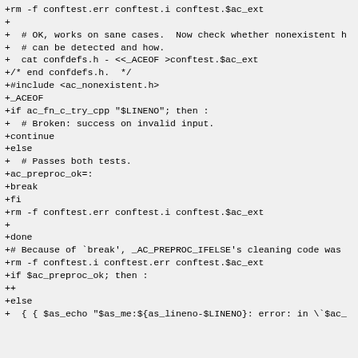+rm -f conftest.err conftest.i conftest.$ac_ext
+
+  # OK, works on sane cases.  Now check whether nonexistent h
+  # can be detected and how.
+  cat confdefs.h - <<_ACEOF >conftest.$ac_ext
+/* end confdefs.h.  */
+#include <ac_nonexistent.h>
+_ACEOF
+if ac_fn_c_try_cpp "$LINENO"; then :
+  # Broken: success on invalid input.
+continue
+else
+  # Passes both tests.
+ac_preproc_ok=:
+break
+fi
+rm -f conftest.err conftest.i conftest.$ac_ext
+
+done
+# Because of `break', _AC_PREPROC_IFELSE's cleaning code was
+rm -f conftest.i conftest.err conftest.$ac_ext
+if $ac_preproc_ok; then :
++
+else
+  { { $as_echo "$as_me:${as_lineno-$LINENO}: error: in \`$ac_